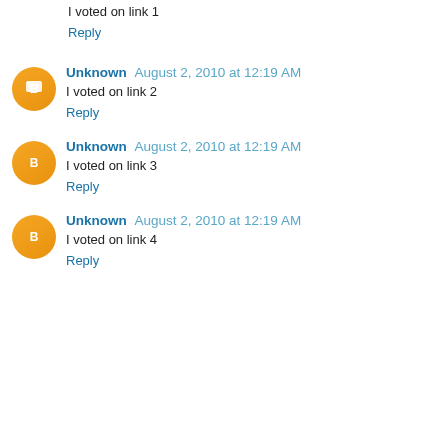I voted on link 1
Reply
Unknown August 2, 2010 at 12:19 AM
I voted on link 2
Reply
Unknown August 2, 2010 at 12:19 AM
I voted on link 3
Reply
Unknown August 2, 2010 at 12:19 AM
I voted on link 4
Reply